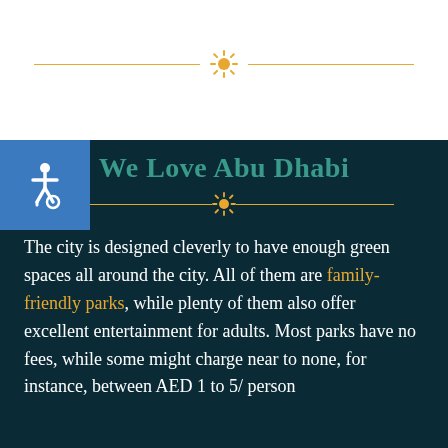[Figure (other): Decorative horizontal divider with orange sun icon in the center, on white background]
[Figure (illustration): Accessibility (wheelchair) icon in a blue square box]
We Love Abu Dhabi
[Figure (other): Decorative horizontal divider with orange sun icon in the center, on dark teal background]
The city is designed cleverly to have enough green spaces all around the city. All of them are family-friendly parks, while plenty of them also offer excellent entertainment for adults. Most parks have no fees, while some might charge near to none, for instance, between AED 1 to 5/ person